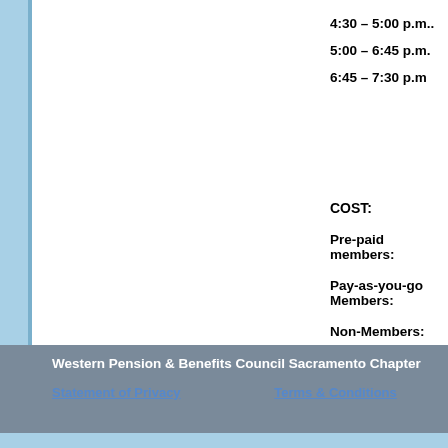4:30 – 5:00 p.m..   Regist
5:00 – 6:45 p.m.   Progra
6:45 – 7:30 p.m   Recep
COST:
Pre-paid members:
Pay-as-you-go Members:
Non-Members:
Western Pension & Benefits Council Sacramento Chapter
Statement of Privacy     Terms & Conditions